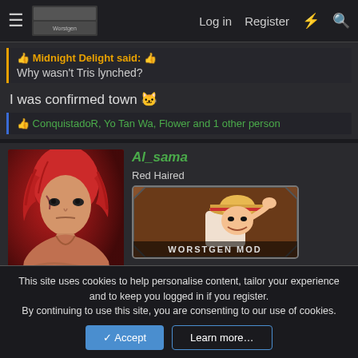Log in  Register  ⚡  🔍
Midnight Delight said: 👍
Why wasn't Tris lynched?
I was confirmed town 🐱
👍 ConquistadoR, Yo Tan Wa, Flower and 1 other person
Al_sama
Red Haired
[Figure (illustration): Anime avatar of red-haired character (Shanks) with red background]
[Figure (illustration): Badge showing anime character with straw hat: WORSTGEN MOD]
This site uses cookies to help personalise content, tailor your experience and to keep you logged in if you register.
By continuing to use this site, you are consenting to our use of cookies.
Accept  Learn more…